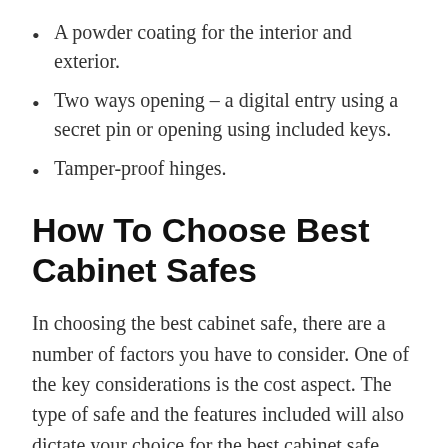A powder coating for the interior and exterior.
Two ways opening – a digital entry using a secret pin or opening using included keys.
Tamper-proof hinges.
How To Choose Best Cabinet Safes
In choosing the best cabinet safe, there are a number of factors you have to consider. One of the key considerations is the cost aspect. The type of safe and the features included will also dictate your choice for the best cabinet safe. You will also have to consider the